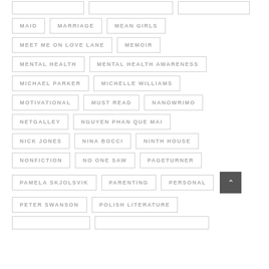MAID
MARRIAGE
MEAN GIRLS
MEET ME ON LOVE LANE
MEMOIR
MENTAL HEALTH
MENTAL HEALTH AWARENESS
MICHAEL PARKER
MICHELLE WILLIAMS
MOTIVATIONAL
MUST READ
NANOWRIMO
NETGALLEY
NGUYEN PHAN QUE MAI
NICK JONES
NINA BOCCI
NINTH HOUSE
NONFICTION
NO ONE SAW
PAGETURNER
PAMELA SKJOLSVIK
PARENTING
PERSONAL
PETER SWANSON
POLISH LITERATURE